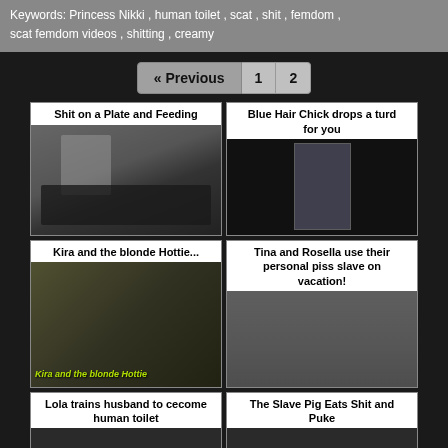Keywords: Princess Nikki , human toilet , scat , shit , femdom , scat femdom videos , shitting , creamy
« Previous  1  2
Shit on a Plate and Feeding
[Figure (photo): Video thumbnail showing a person in stockings standing over another person lying on the floor]
Blue Hair Chick drops a turd for you
[Figure (photo): Video thumbnail with a person standing, mostly dark background]
Kira and the blonde Hottie...
[Figure (photo): Video thumbnail with overlay text 'Kira and the blonde Hottie']
Tina and Rosella use their personal piss slave on vacation!
[Figure (photo): Video thumbnail showing two women]
Lola trains husband to cecome human toilet
The Slave Pig Eats Shit and Puke